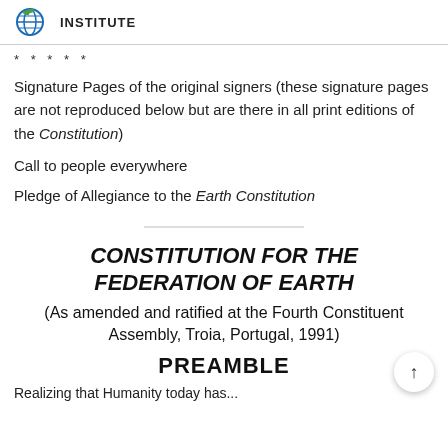INSTITUTE
* * * * *
Signature Pages of the original signers (these signature pages are not reproduced below but are there in all print editions of the Constitution)
Call to people everywhere
Pledge of Allegiance to the Earth Constitution
CONSTITUTION FOR THE FEDERATION OF EARTH
(As amended and ratified at the Fourth Constituent Assembly, Troia, Portugal, 1991)
PREAMBLE
Realizing that Humanity today has...